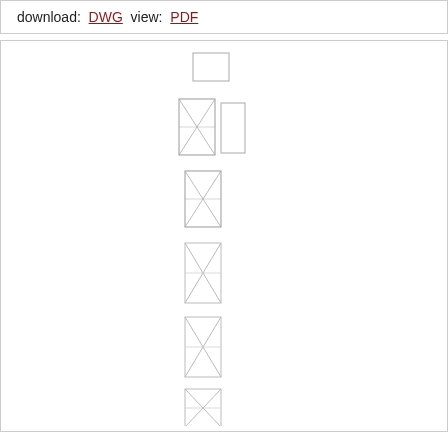download: DWG  view: PDF
[Figure (engineering-diagram): Vertical sequence of structural truss/tower section diagrams shown in elevation and plan views, stacked vertically in the center of the page. Includes a small rectangle at top, then pairs and singles of cross-braced rectangular sections showing different truss configurations.]